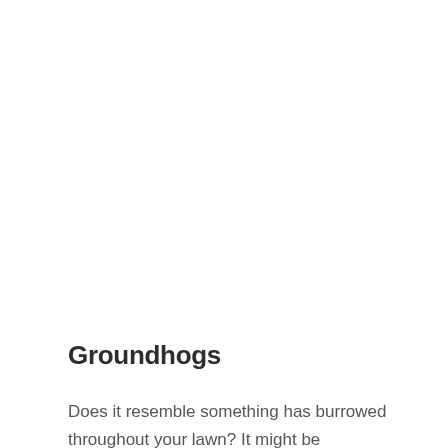Groundhogs
Does it resemble something has burrowed throughout your lawn? It might be groundhogs, and they are capable of